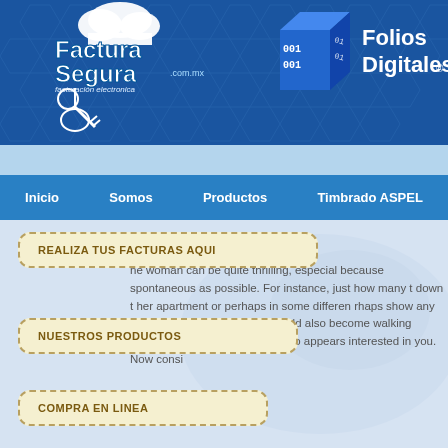[Figure (logo): FacturaSegura.com.mx logo with cloud and guitar icon, facturación electronica text, on dark blue hexagon patterned background]
[Figure (logo): Folios Digitales logo with blue 3D cube showing binary digits 001]
Inicio  Somos  Productos  Timbrado ASPEL
olitary Woman
ne woman can be quite thrilling, especial because spontaneous as possible. For instance, just how many t down t her apartment or perhaps in some differen rhaps show any kind of interest in you? T ou could also become walking straight d bump to a pretty m who appears interested in you. Now consi
REALIZA TUS FACTURAS AQUI
NUESTROS PRODUCTOS
COMPRA EN LINEA